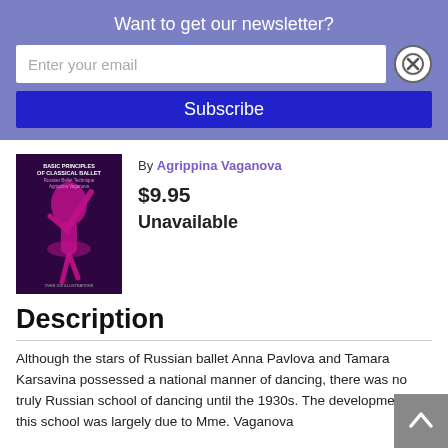Want to get our newsletter?
Enter your email
Subscribe
[Figure (photo): Book cover of 'Basic Principles of Classical Ballet: Russian Ballet Technique' by Agrippina Vaganova, featuring a pink/magenta dancer silhouette on a dark purple background]
By Agrippina Vaganova
$9.95
Unavailable
Description
Although the stars of Russian ballet Anna Pavlova and Tamara Karsavina possessed a national manner of dancing, there was no truly Russian school of dancing until the 1930s. The development of this school was largely due to Mme. Vaganova